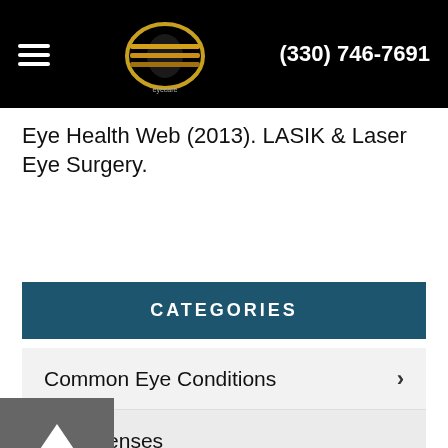(330) 746-7691
Eye Health Web (2013). LASIK & Laser Eye Surgery.
CATEGORIES
Common Eye Conditions
ntact Lenses
Eye Diseases
yeglasses